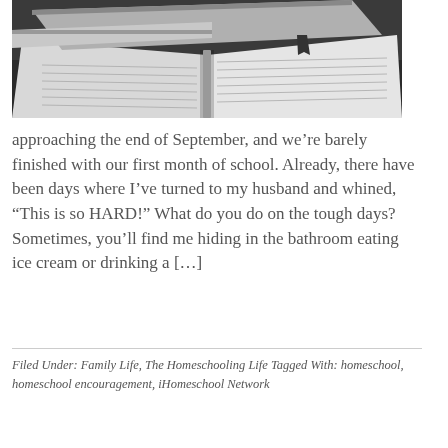[Figure (photo): Open textbooks and notebooks stacked on a desk, black and white/desaturated photo]
approaching the end of September, and we’re barely finished with our first month of school. Already, there have been days where I’ve turned to my husband and whined, “This is so HARD!” What do you do on the tough days? Sometimes, you’ll find me hiding in the bathroom eating ice cream or drinking a […]
Filed Under: Family Life, The Homeschooling Life Tagged With: homeschool, homeschool encouragement, iHomeschool Network